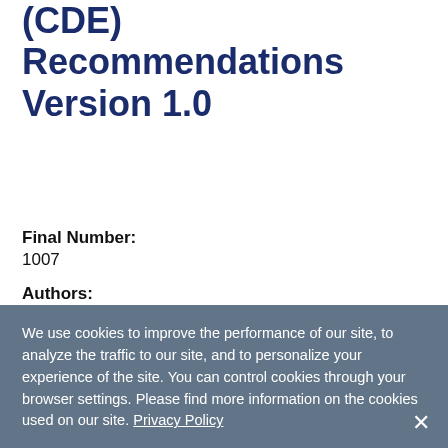Common Data Elements (CDE) Recommendations Version 1.0
Final Number: 1007
Authors: Kristen Joseph, Roger Kula, Brandon Rocque, Paolo Bolognese, Cormac Maher, John Heiss, Allison Koch, Dorothy Boppo, Kaitlyn Esposito, Joanne Odenkirchen, Robert Riddle
We use cookies to improve the performance of our site, to analyze the traffic to our site, and to personalize your experience of the site. You can control cookies through your browser settings. Please find more information on the cookies used on our site. Privacy Policy